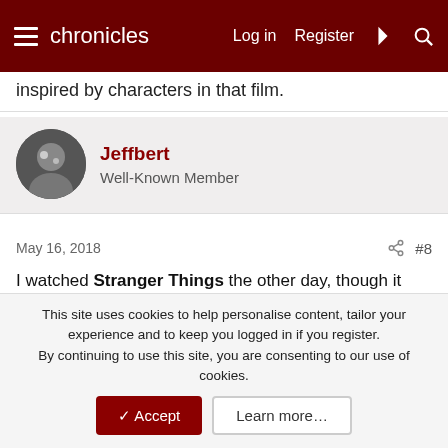chronicles | Log in | Register
inspired by characters in that film.
Jeffbert
Well-Known Member
May 16, 2018 #8
I watched Stranger Things the other day, though it was mentioned in one of the 1st 2 episodes, I do not see the relevance. I intend to watch #3 soon, but must make room on my DVR, & do want to save it for a while. I did catch a few minutes of #3, it appears to be about radioactive mutations, Gojira (Godzilla), THEM!, ETC. It should be fun!
This site uses cookies to help personalise content, tailor your experience and to keep you logged in if you register.
By continuing to use this site, you are consenting to our use of cookies.